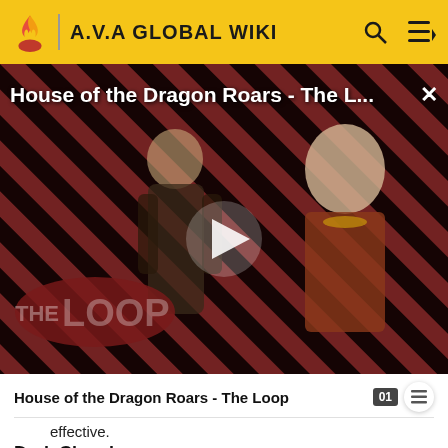A.V.A GLOBAL WIKI
[Figure (screenshot): Video thumbnail for 'House of the Dragon Roars - The Loop' showing two characters on a diagonal red and black striped background with a play button in the center and 'THE LOOP' logo in the lower left. A close (X) button is visible top right.]
House of the Dragon Roars - The Loop
effective.
Dark Chamber
There are not so many places where survivors can go to